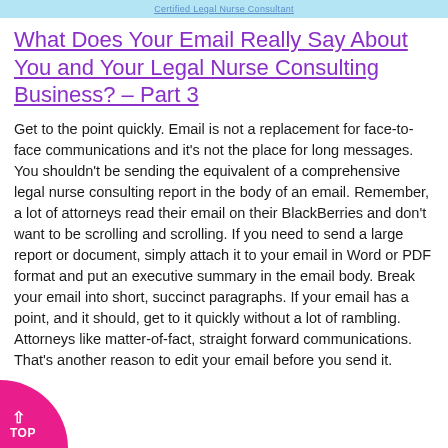Certified Legal Nurse Consultant
What Does Your Email Really Say About You and Your Legal Nurse Consulting Business? – Part 3
Get to the point quickly. Email is not a replacement for face-to-face communications and it's not the place for long messages. You shouldn't be sending the equivalent of a comprehensive legal nurse consulting report in the body of an email. Remember, a lot of attorneys read their email on their BlackBerries and don't want to be scrolling and scrolling. If you need to send a large report or document, simply attach it to your email in Word or PDF format and put an executive summary in the email body. Break your email into short, succinct paragraphs. If your email has a point, and it should, get to it quickly without a lot of rambling. Attorneys like matter-of-fact, straight forward communications. That's another reason to edit your email before you send it.